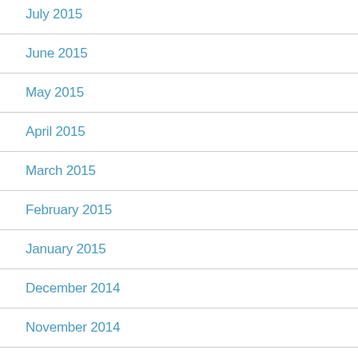July 2015
June 2015
May 2015
April 2015
March 2015
February 2015
January 2015
December 2014
November 2014
October 2014
September 2014